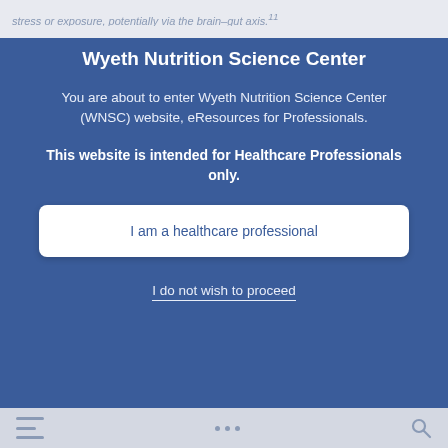stress or exposure, potentially via the brain–gut axis.11
Wyeth Nutrition Science Center
You are about to enter Wyeth Nutrition Science Center (WNSC) website, eResources for Professionals.
This website is intended for Healthcare Professionals only.
I am a healthcare professional
I do not wish to proceed